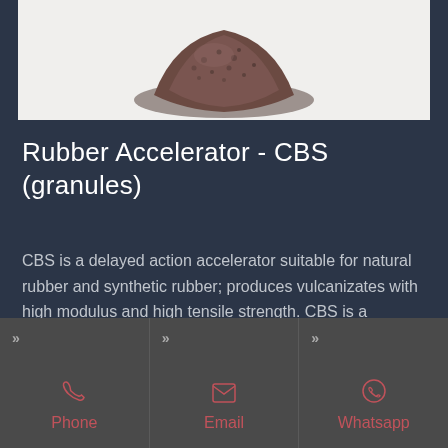[Figure (photo): Product photo of Rubber Accelerator CBS granules - a dark brownish granular material shown in a heap on white background]
Rubber Accelerator - CBS (granules)
CBS is a delayed action accelerator suitable for natural rubber and synthetic rubber; produces vulcanizates with high modulus and high tensile strength. CBS is a medium to fast primary accelerator suitable for NR, IR, SBR,
Phone | Email | Whatsapp